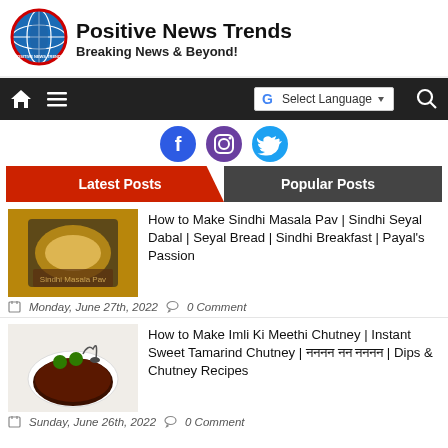[Figure (logo): Positive News Trends globe logo with red border]
Positive News Trends
Breaking News & Beyond!
[Figure (screenshot): Navigation bar with home, menu, Google Translate language selector, and search icon]
[Figure (infographic): Social media icons: Facebook, Instagram, Twitter]
Latest Posts | Popular Posts
[Figure (photo): Sindhi Masala Pav dish in a black container]
How to Make Sindhi Masala Pav | Sindhi Seyal Dabal | Seyal Bread | Sindhi Breakfast | Payal's Passion
Monday, June 27th, 2022   0 Comment
[Figure (photo): Bowl of Imli Ki Meethi Chutney (tamarind chutney) with green garnish and spoon]
How to Make Imli Ki Meethi Chutney | Instant Sweet Tamarind Chutney | इमली की मीठी चटनी | Dips & Chutney Recipes
Sunday, June 26th, 2022   0 Comment